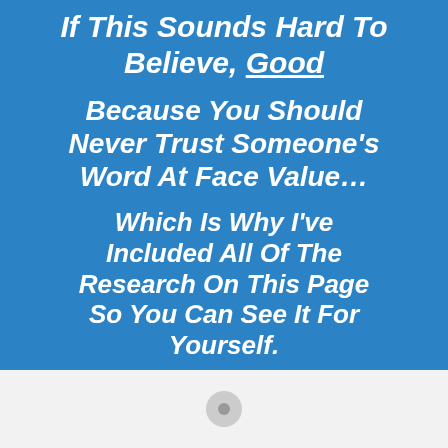If This Sounds Hard To Believe, Good
Because You Should Never Trust Someone's Word At Face Value...
Which Is Why I've Included All Of The Research On This Page So You Can See It For Yourself.
[Figure (other): White/light gray section with a small circular play button icon in the center]